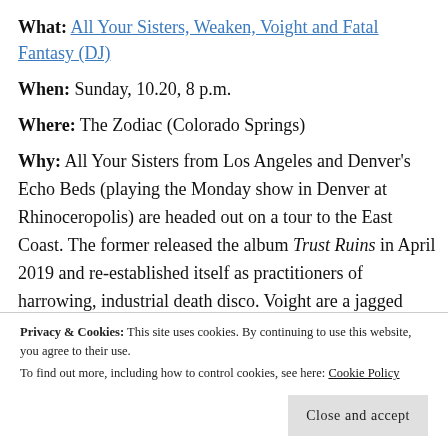What: All Your Sisters, Weaken, Voight and Fatal Fantasy (DJ)
When: Sunday, 10.20, 8 p.m.
Where: The Zodiac (Colorado Springs)
Why: All Your Sisters from Los Angeles and Denver's Echo Beds (playing the Monday show in Denver at Rhinoceropolis) are headed out on a tour to the East Coast. The former released the album Trust Ruins in April 2019 and re-established itself as practitioners of harrowing, industrial death disco. Voight are a jagged machine of sound and sometimes convulsive,
Privacy & Cookies: This site uses cookies. By continuing to use this website, you agree to their use. To find out more, including how to control cookies, see here: Cookie Policy